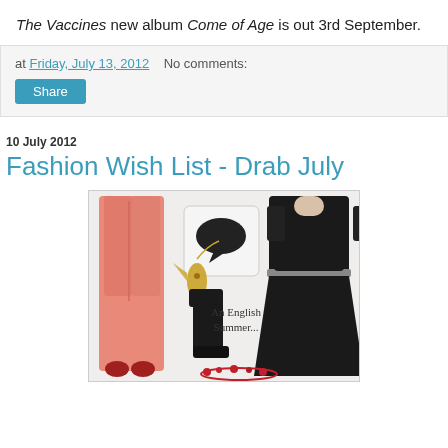The Vaccines new album Come of Age is out 3rd September.
at Friday, July 13, 2012   No comments:
Share
10 July 2012
Fashion Wish List - Drab July
[Figure (photo): Fashion collage showing pink skinny jeans with red heels, a gold fish necklace, black wellington boots, a white sweater with speech bubble print, a black skater dress, a red floral crown, and text reading 'An English Summer...']